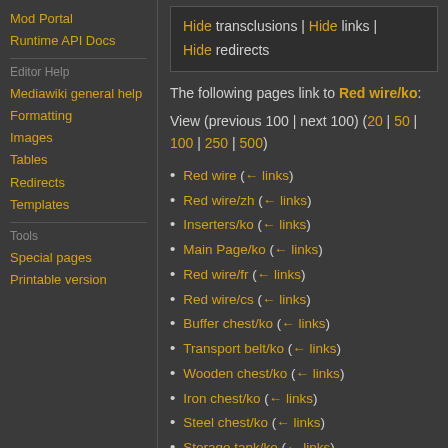Mod Portal
Runtime API Docs
Editor Help
Mediawiki general help
Formatting
Images
Tables
Redirects
Templates
Tools
Special pages
Printable version
Hide transclusions | Hide links | Hide redirects
The following pages link to Red wire/ko:
View (previous 100 | next 100) (20 | 50 | 100 | 250 | 500)
Red wire  (← links)
Red wire/zh  (← links)
Inserters/ko  (← links)
Main Page/ko  (← links)
Red wire/fr  (← links)
Red wire/cs  (← links)
Buffer chest/ko  (← links)
Transport belt/ko  (← links)
Wooden chest/ko  (← links)
Iron chest/ko  (← links)
Steel chest/ko  (← links)
Storage tank/ko  (← links)